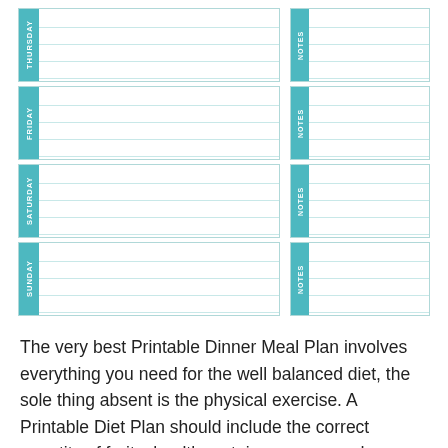| THURSDAY | NOTES |
| --- | --- |
|  |  |
| FRIDAY | NOTES |
| --- | --- |
|  |  |
| SATURDAY | NOTES |
| --- | --- |
|  |  |
| SUNDAY | NOTES |
| --- | --- |
|  |  |
The very best Printable Dinner Meal Plan involves everything you need for the well balanced diet, the sole thing absent is the physical exercise. A Printable Diet Plan should include the correct quantity of fruits, health proteins, sugars and vegetables in the correct amount. Occasionally you will need a little assist